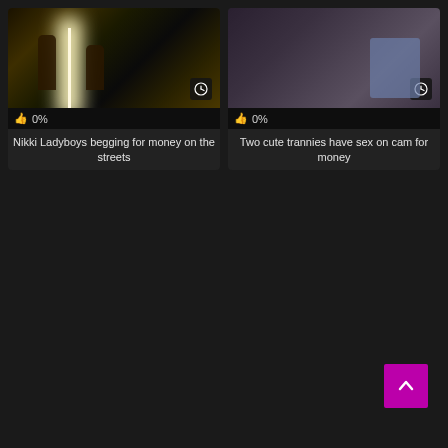[Figure (screenshot): Video thumbnail showing people on a street at night with bright lights]
0%
Nikki Ladyboys begging for money on the streets
[Figure (screenshot): Video thumbnail showing people indoors on a couch]
0%
Two cute trannies have sex on cam for money